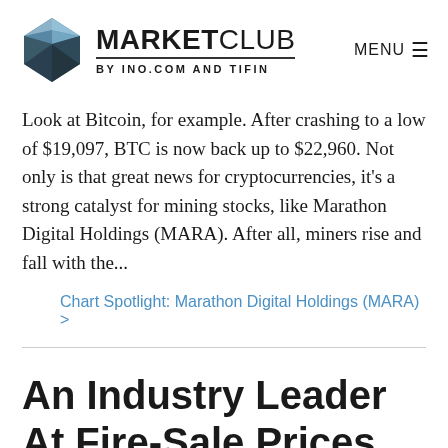MARKETCLUB BY INO.COM AND TIFIN
Look at Bitcoin, for example. After crashing to a low of $19,097, BTC is now back up to $22,960. Not only is that great news for cryptocurrencies, it's a strong catalyst for mining stocks, like Marathon Digital Holdings (MARA). After all, miners rise and fall with the...
Chart Spotlight: Marathon Digital Holdings (MARA) >
An Industry Leader At Fire-Sale Prices